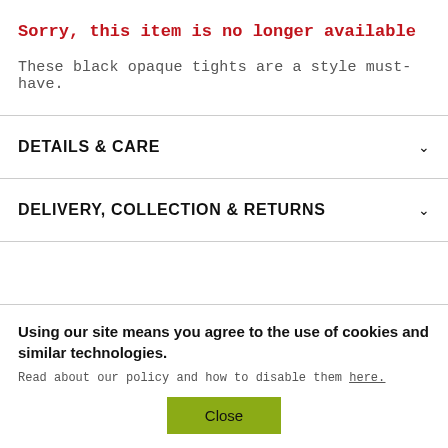Sorry, this item is no longer available
These black opaque tights are a style must-have.
DETAILS & CARE
DELIVERY, COLLECTION & RETURNS
Using our site means you agree to the use of cookies and similar technologies.
Read about our policy and how to disable them here.
Close